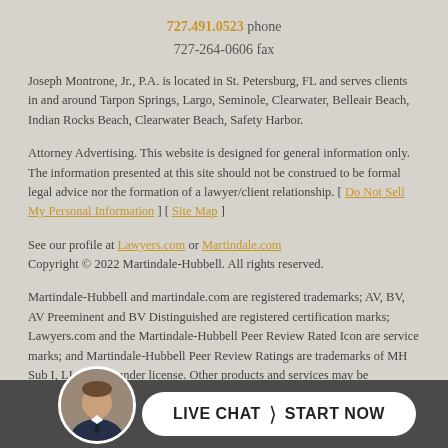727.491.0523 phone
727-264-0606 fax
Joseph Montrone, Jr., P.A. is located in St. Petersburg, FL and serves clients in and around Tarpon Springs, Largo, Seminole, Clearwater, Belleair Beach, Indian Rocks Beach, Clearwater Beach, Safety Harbor.
Attorney Advertising. This website is designed for general information only. The information presented at this site should not be construed to be formal legal advice nor the formation of a lawyer/client relationship. [ Do Not Sell My Personal Information ] [ Site Map ]
See our profile at Lawyers.com or Martindale.com
Copyright © 2022 Martindale-Hubbell. All rights reserved.
Martindale-Hubbell and martindale.com are registered trademarks; AV, BV, AV Preeminent and BV Distinguished are registered certification marks; Lawyers.com and the Martindale-Hubbell Peer Review Rated Icon are service marks; and Martindale-Hubbell Peer Review Ratings are trademarks of MH Sub I, LLC, used under license. Other products and services may be trademarks or registered trademarks of their respective companies. Copyright © 2022 MH Sub I, LLC. All rights reserved.
[Figure (other): Live chat button with avatar photo of attorney and 'LIVE CHAT › START NOW' button]